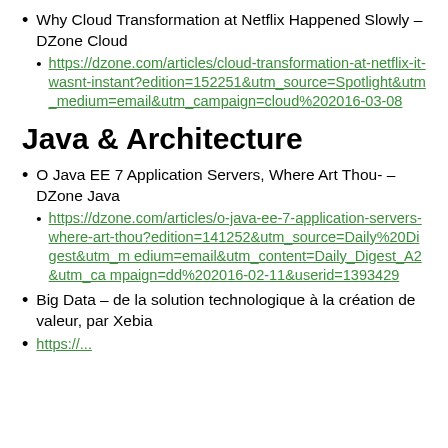Why Cloud Transformation at Netflix Happened Slowly – DZone Cloud
https://dzone.com/articles/cloud-transformation-at-netflix-it-wasnt-instant?edition=152251&utm_source=Spotlight&utm_medium=email&utm_campaign=cloud%202016-03-08
Java & Architecture
O Java EE 7 Application Servers, Where Art Thou- – DZone Java
https://dzone.com/articles/o-java-ee-7-application-servers-where-art-thou?edition=141252&utm_source=Daily%20Digest&utm_medium=email&utm_content=Daily_Digest_A2&utm_campaign=dd%202016-02-11&userid=1393429
Big Data – de la solution technologique à la création de valeur, par Xebia
https://...